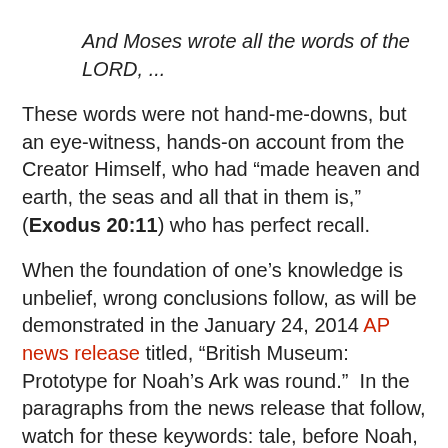And Moses wrote all the words of the LORD, ...
These words were not hand-me-downs, but an eye-witness, hands-on account from the Creator Himself, who had “made heaven and earth, the seas and all that in them is,” (Exodus 20:11) who has perfect recall.
When the foundation of one’s knowledge is unbelief, wrong conclusions follow, as will be demonstrated in the January 24, 2014 AP news release titled, “British Museum: Prototype for Noah’s Ark was round.”  In the paragraphs from the news release that follow, watch for these keywords: tale, before Noah, Babylonian